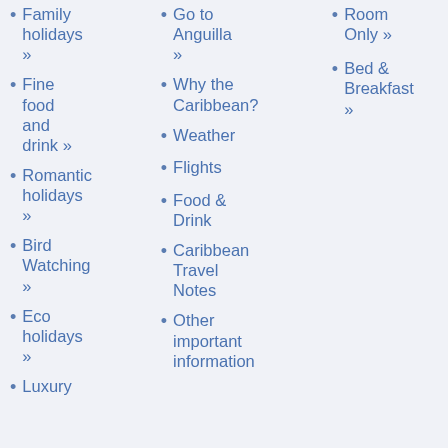Family holidays »
Fine food and drink »
Romantic holidays »
Bird Watching »
Eco holidays »
Luxury
Go to Anguilla »
Why the Caribbean?
Weather
Flights
Food & Drink
Caribbean Travel Notes
Other important information
Room Only »
Bed & Breakfast »